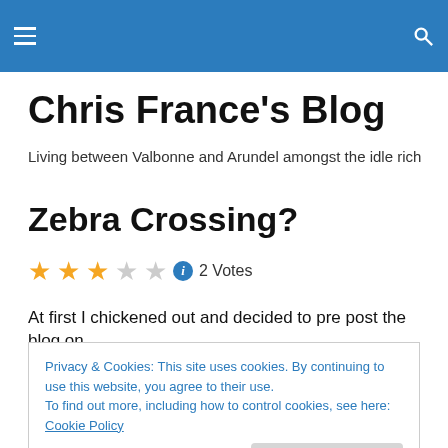Chris France's Blog — navigation header bar
Chris France's Blog
Living between Valbonne and Arundel amongst the idle rich
Zebra Crossing?
2 Votes
At first I chickened out and decided to pre post the blog on
Privacy & Cookies: This site uses cookies. By continuing to use this website, you agree to their use.
To find out more, including how to control cookies, see here: Cookie Policy
Part one. As we checked in, a lovely young beautiful BA